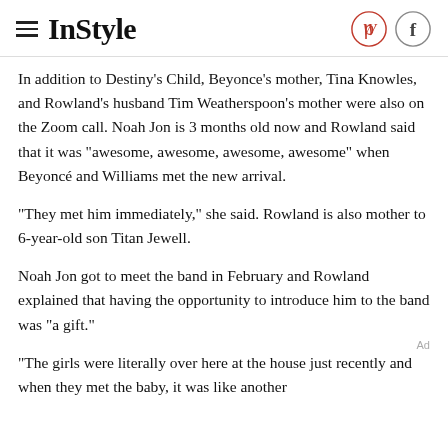InStyle
In addition to Destiny's Child, Beyonce's mother, Tina Knowles, and Rowland's husband Tim Weatherspoon's mother were also on the Zoom call. Noah Jon is 3 months old now and Rowland said that it was "awesome, awesome, awesome, awesome" when Beyoncé and Williams met the new arrival.
"They met him immediately," she said. Rowland is also mother to 6-year-old son Titan Jewell.
Noah Jon got to meet the band in February and Rowland explained that having the opportunity to introduce him to the band was "a gift."
"The girls were literally over here at the house just recently and when they met the baby, it was like another